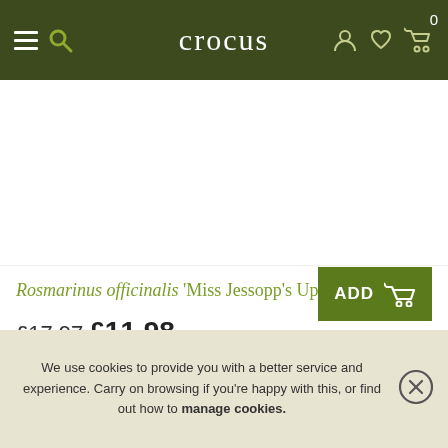crocus
[Figure (photo): Product image area for Rosmarinus officinalis 'Miss Jessopp's Upright' — white/empty placeholder]
Rosmarinus officinalis 'Miss Jessopp's Upright'
£17.97 £11.98
2 + 1 FREE 9cm pots
in stock
(shipped within 2-3 working days)
We use cookies to provide you with a better service and experience. Carry on browsing if you're happy with this, or find out how to manage cookies.